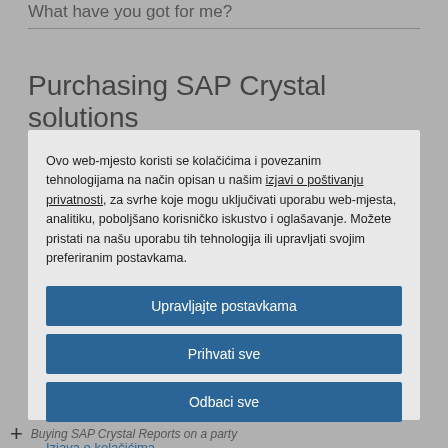What have you got for me?
Purchasing SAP Crystal solutions
Ovo web-mjesto koristi se kolačićima i povezanim tehnologijama na način opisan u našim izjavi o poštivanju privatnosti, za svrhe koje mogu uključivati uporabu web-mjesta, analitiku, poboljšano korisničko iskustvo i oglašavanje. Možete pristati na našu uporabu tih tehnologija ili upravljati svojim preferiranim postavkama.
Upravljajte postavkama
Prihvati sve
Odbaci sve
Izjava o kolačićima
Buying SAP Crystal Reports on a party